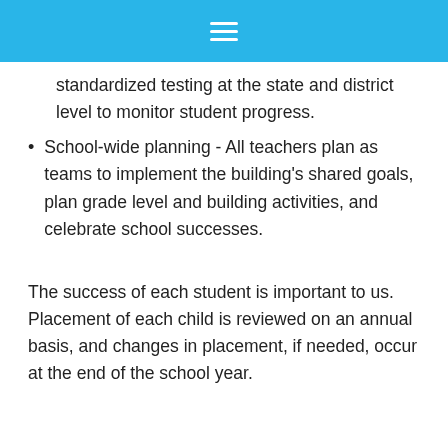[hamburger menu icon]
standardized testing at the state and district level to monitor student progress.
School-wide planning - All teachers plan as teams to implement the building's shared goals, plan grade level and building activities, and celebrate school successes.
The success of each student is important to us. Placement of each child is reviewed on an annual basis, and changes in placement, if needed, occur at the end of the school year.